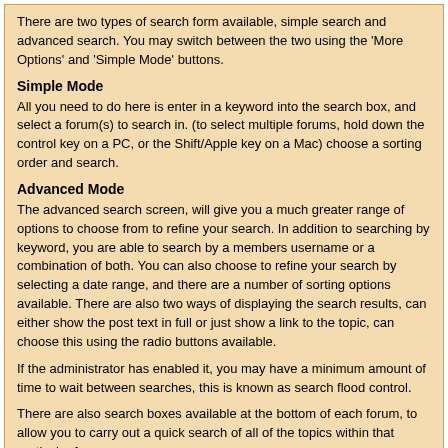There are two types of search form available, simple search and advanced search. You may switch between the two using the 'More Options' and 'Simple Mode' buttons.
Simple Mode
All you need to do here is enter in a keyword into the search box, and select a forum(s) to search in. (to select multiple forums, hold down the control key on a PC, or the Shift/Apple key on a Mac) choose a sorting order and search.
Advanced Mode
The advanced search screen, will give you a much greater range of options to choose from to refine your search. In addition to searching by keyword, you are able to search by a members username or a combination of both. You can also choose to refine your search by selecting a date range, and there are a number of sorting options available. There are also two ways of displaying the search results, can either show the post text in full or just show a link to the topic, can choose this using the radio buttons available.
If the administrator has enabled it, you may have a minimum amount of time to wait between searches, this is known as search flood control.
There are also search boxes available at the bottom of each forum, to allow you to carry out a quick search of all of the topics within that particular forum.
Version bas débit   Nous sommes le : 18th August 2022 - 12:01
Ce site est déclaré auprès de la commision Nationale de l'Informatique et des Libertés (déclaration n°: 1043896)
Powered By IP.Board 2.3.6 © 2022  IPS, Inc.